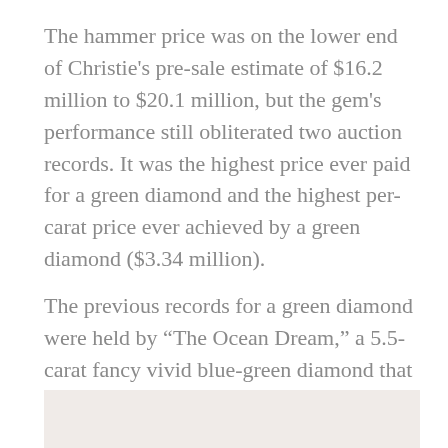The hammer price was on the lower end of Christie's pre-sale estimate of $16.2 million to $20.1 million, but the gem's performance still obliterated two auction records. It was the highest price ever paid for a green diamond and the highest per-carat price ever achieved by a green diamond ($3.34 million).
The previous records for a green diamond were held by “The Ocean Dream,” a 5.5-carat fancy vivid blue-green diamond that yielded $8.6 million ($1.5 million per carat) at Christie’s Geneva in 2014.
[Figure (photo): Partial photo of a diamond or gemstone jewelry piece, pink/purple tones, partially visible at bottom of page]